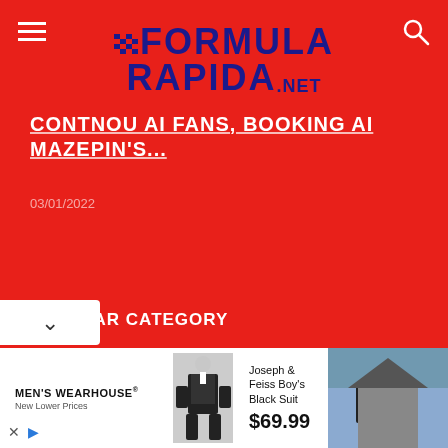Formula Rapida .net
CONTNOU AI FANS, BOOKING AI MAZEPIN'S...
03/01/2022
POPULAR CATEGORY
F1   6260
_HOME   5789
IN THE SPOTLIGHT   2048
SINGLE-SEATERS   1416
MOTOGP   1232
FORMULA 2   974
[Figure (advertisement): Men's Wearhouse ad showing a boy in a black suit, Joseph & Feiss Boy's Black Suit $69.99, with a photo of a man and woman in formal wear]